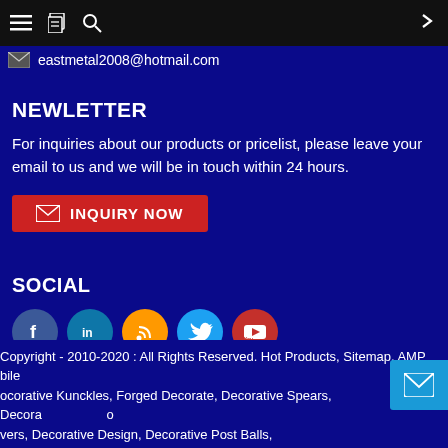eastmetal2008@hotmail.com
NEWLETTER
For inquiries about our products or pricelist, please leave your email to us and we will be in touch within 24 hours.
INQUIRY NOW
SOCIAL
[Figure (infographic): Row of 5 social media icon circles: Facebook (blue), LinkedIn (blue), RSS (orange), Twitter (light blue), YouTube (red)]
Copyright - 2010-2020 : All Rights Reserved. Hot Products, Sitemap, AMP Mobile Decorative Kunckles, Forged Decorate, Decorative Spears, Decorative Knowers, Decorative Design, Decorative Post Balls,